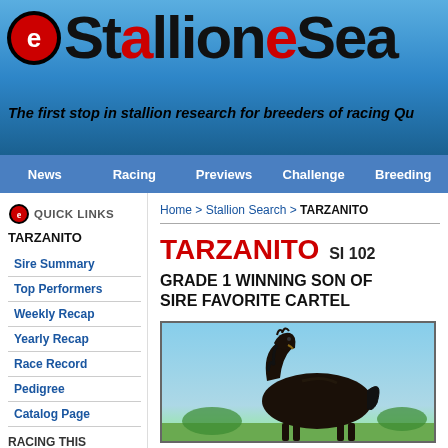eStallionSearch — The first stop in stallion research for breeders of racing Qu...
News | Racing | Previews | Challenge | Breeding
QUICK LINKS
TARZANITO
Sire Summary
Top Performers
Weekly Recap
Yearly Recap
Race Record
Pedigree
Catalog Page
RACING THIS
Home > Stallion Search > TARZANITO
TARZANITO SI 102
GRADE 1 WINNING SON OF SIRE FAVORITE CARTEL
[Figure (photo): Dark bay/black horse standing profile in outdoor setting with blue sky background]